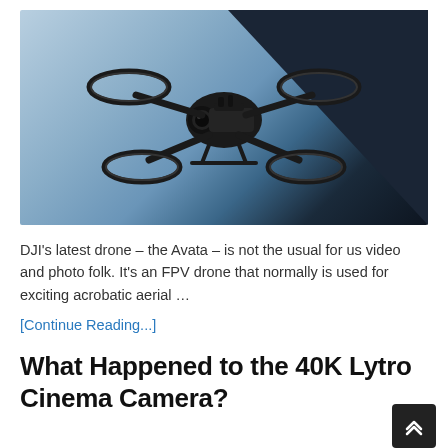[Figure (photo): DJI Avata FPV drone photographed in mid-air against a blue-grey gradient background with a dark triangular shape in the upper right corner.]
DJI's latest drone – the Avata – is not the usual for us video and photo folk. It's an FPV drone that normally is used for exciting acrobatic aerial …
[Continue Reading...]
What Happened to the 40K Lytro Cinema Camera?